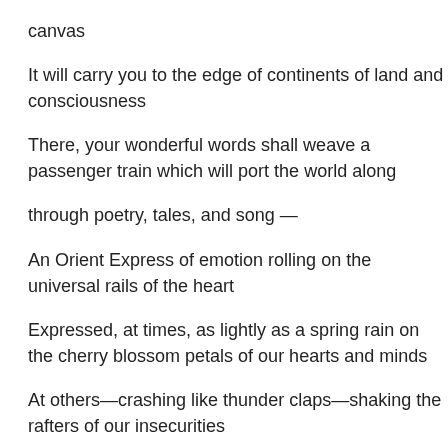canvas
It will carry you to the edge of continents of land and consciousness
There, your wonderful words shall weave a passenger train which will port the world along
through poetry, tales, and song —
An Orient Express of emotion rolling on the universal rails of the heart
Expressed, at times, as lightly as a spring rain on the cherry blossom petals of our hearts and minds
At others—crashing like thunder claps—shaking the rafters of our insecurities